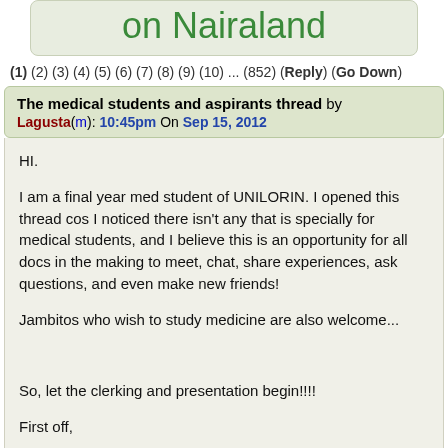on Nairaland
(1) (2) (3) (4) (5) (6) (7) (8) (9) (10) ... (852) (Reply) (Go Down)
The medical students and aspirants thread by Lagusta(m): 10:45pm On Sep 15, 2012
HI.

I am a final year med student of UNILORIN. I opened this thread cos I noticed there isn't any that is specially for medical students, and I believe this is an opportunity for all docs in the making to meet, chat, share experiences, ask questions, and even make new friends!

Jambitos who wish to study medicine are also welcome...


So, let the clerking and presentation begin!!!!

First off,